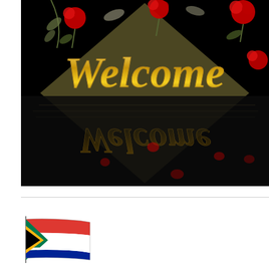[Figure (illustration): Animated welcome image with gold cursive 'Welcome' text and red roses on a black background, with a water reflection effect below showing the text and roses reflected.]
[Figure (illustration): Small animated South African flag on a flagpole, waving.]